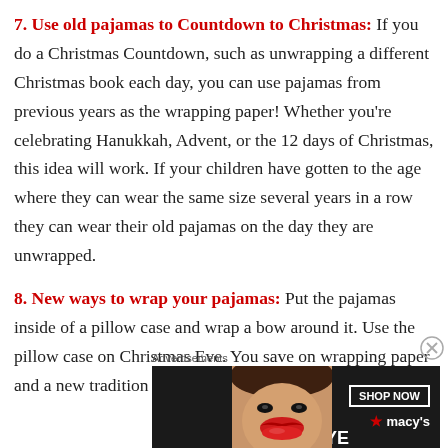7. Use old pajamas to Countdown to Christmas: If you do a Christmas Countdown, such as unwrapping a different Christmas book each day, you can use pajamas from previous years as the wrapping paper! Whether you're celebrating Hanukkah, Advent, or the 12 days of Christmas, this idea will work. If your children have gotten to the age where they can wear the same size several years in a row they can wear their old pajamas on the day they are unwrapped.
8. New ways to wrap your pajamas: Put the pajamas inside of a pillow case and wrap a bow around it. Use the pillow case on Christmas Eve. You save on wrapping paper and a new tradition is born! Similar to the
[Figure (other): Advertisement banner for Macy's lipstick promotion with text 'KISS BORING LIPS GOODBYE' and a 'SHOP NOW' button with Macy's logo, featuring a close-up of a woman's lips.]